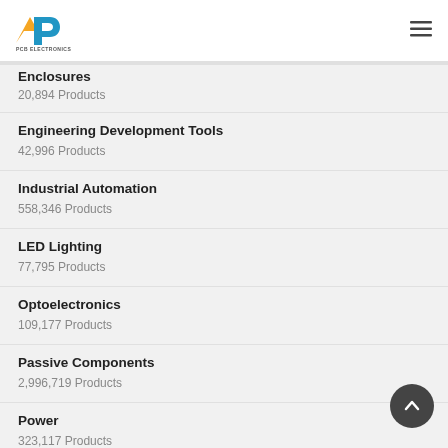PCB Electronics - logo and navigation
Enclosures
20,894 Products
Engineering Development Tools
42,996 Products
Industrial Automation
558,346 Products
LED Lighting
77,795 Products
Optoelectronics
109,177 Products
Passive Components
2,996,719 Products
Power
323,117 Products
Semiconductors